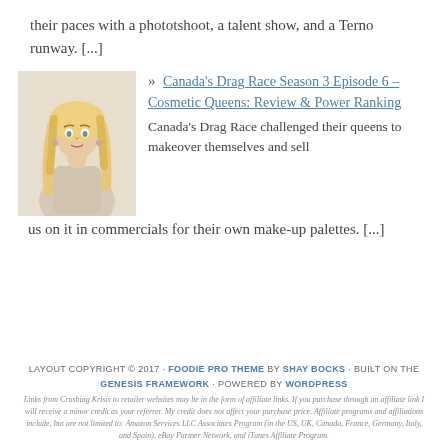their paces with a phototshoot, a talent show, and a Terno runway. [...]
[Figure (photo): Photo of a drag queen posing thoughtfully with hand near chin, wearing light-colored outfit]
» Canada's Drag Race Season 3 Episode 6 – Cosmetic Queens: Review & Power Ranking
Canada's Drag Race challenged their queens to makeover themselves and sell us on it in commercials for their own make-up palettes. [...]
LAYOUT COPYRIGHT © 2017 · FOODIE PRO THEME BY SHAY BOCKS · BUILT ON THE GENESIS FRAMEWORK · POWERED BY WORDPRESS
Links from Crushing Krisis to retailer websites may be in the form of affiliate links. If you purchase through an affiliate link I will receive a minor credit as your referrer. My credit does not affect your purchase price. Affiliate programs and affiliations include, but are not limited to: Amazon Services LLC Associates Program (in the US, UK, Canada, France, Germany, Italy, and Spain), eBay Partner Network, and iTunes Affiliate Program.